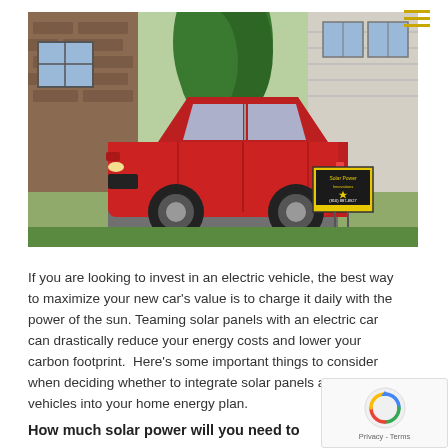[Figure (photo): A red Chevrolet Volt electric car parked in a driveway in front of a house with brick and siding exterior. A yellow Solar Power Innovations yard sign is visible on the grass to the right.]
If you are looking to invest in an electric vehicle, the best way to maximize your new car's value is to charge it daily with the power of the sun. Teaming solar panels with an electric car can drastically reduce your energy costs and lower your carbon footprint.  Here's some important things to consider when deciding whether to integrate solar panels and electric vehicles into your home energy plan.
How much solar power will you need to